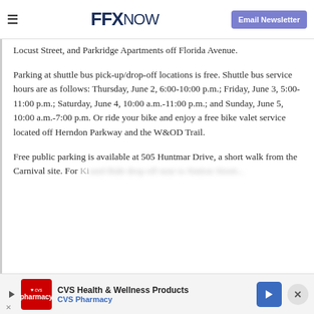FFX NOW | Email Newsletter
Locust Street, and Parkridge Apartments off Florida Avenue.

Parking at shuttle bus pick-up/drop-off locations is free. Shuttle bus service hours are as follows: Thursday, June 2, 6:00-10:00 p.m.; Friday, June 3, 5:00-11:00 p.m.; Saturday, June 4, 10:00 a.m.-11:00 p.m.; and Sunday, June 5, 10:00 a.m.-7:00 p.m. Or ride your bike and enjoy a free bike valet service located off Herndon Parkway and the W&OD Trail.

Free public parking is available at 505 Huntmar Drive, a short walk from the Carnival site. For Ki...
[Figure (screenshot): CVS Health & Wellness Products advertisement banner at the bottom of the page]